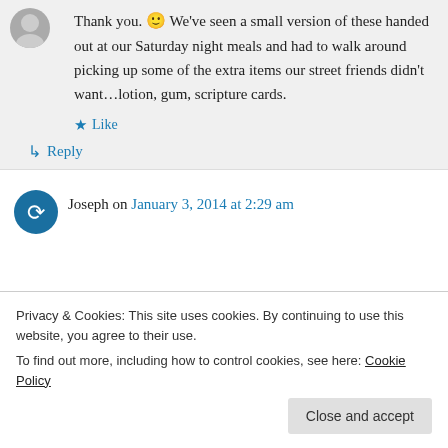Thank you. 🙂 We've seen a small version of these handed out at our Saturday night meals and had to walk around picking up some of the extra items our street friends didn't want…lotion, gum, scripture cards.
★ Like
↳ Reply
Joseph on January 3, 2014 at 2:29 am
Privacy & Cookies: This site uses cookies. By continuing to use this website, you agree to their use.
To find out more, including how to control cookies, see here: Cookie Policy
Close and accept